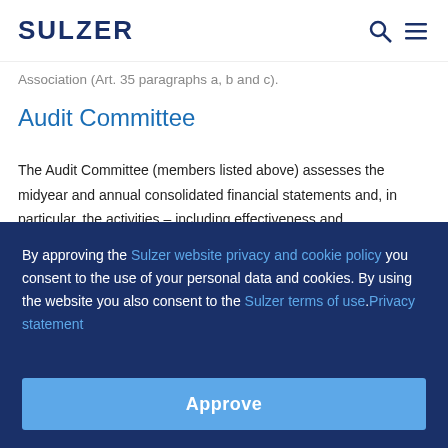SULZER
Association (Art. 35 paragraphs a, b and c).
Audit Committee
The Audit Committee (members listed above) assesses the midyear and annual consolidated financial statements and, in particular, the activities – including effectiveness and independence – of the internal and statutory auditor, as well as the cooperation between the two bodies. It also assesses the Internal Control System (ICS), risk
By approving the Sulzer website privacy and cookie policy you consent to the use of your personal data and cookies. By using the website you also consent to the Sulzer terms of use. Privacy statement
Approve